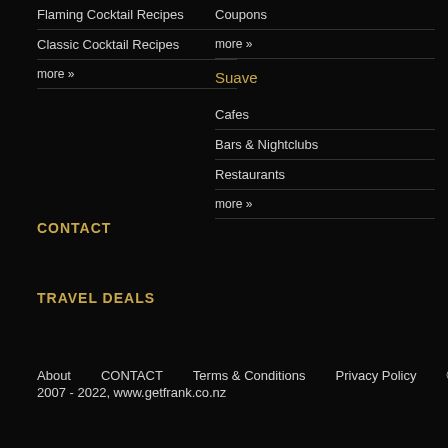Flaming Cocktail Recipes
Classic Cocktail Recipes
more »
Coupons
more »
Suave
Cafes
Bars & Nightclubs
Restaurants
more »
CONTACT
TRAVEL DEALS
About   CONTACT   Terms & Conditions   Privacy Policy   © Copyright 2007 - 2022, www.getfrank.co.nz